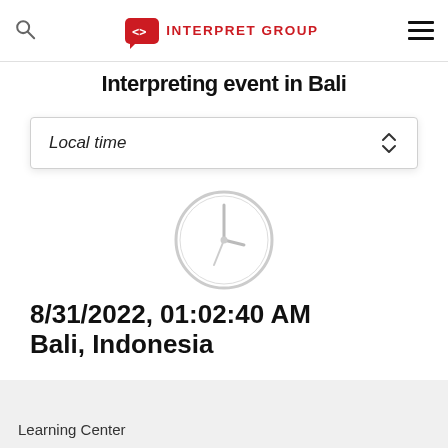INTERPRET GROUP
Interpreting event in Bali
Local time
[Figure (illustration): Clock icon showing circular clock face outline]
8/31/2022, 01:02:40 AM
Bali, Indonesia
Learning Center